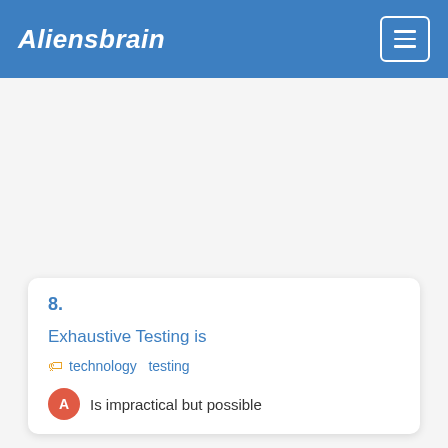Aliensbrain
8.
Exhaustive Testing is
technology  testing
Is impractical but possible